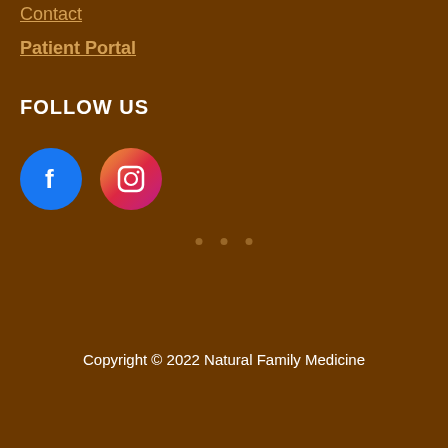Contact
Patient Portal
FOLLOW US
[Figure (illustration): Facebook and Instagram social media icon buttons — Facebook blue circle with white 'f' icon, Instagram pink/red gradient circle with white camera icon]
Copyright © 2022 Natural Family Medicine